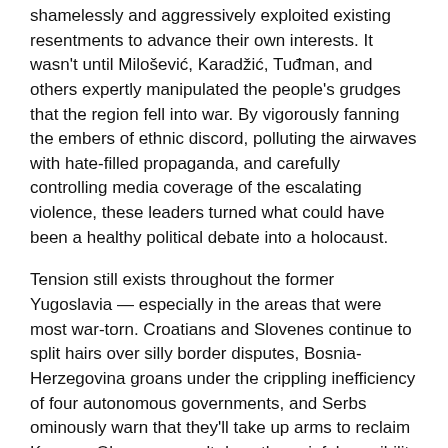shamelessly and aggressively exploited existing resentments to advance their own interests. It wasn't until Milošević, Karadžić, Tuđman, and others expertly manipulated the people's grudges that the region fell into war. By vigorously fanning the embers of ethnic discord, polluting the airwaves with hate-filled propaganda, and carefully controlling media coverage of the escalating violence, these leaders turned what could have been a healthy political debate into a holocaust.
Tension still exists throughout the former Yugoslavia — especially in the areas that were most war-torn. Croatians and Slovenes continue to split hairs over silly border disputes, Bosnia-Herzegovina groans under the crippling inefficiency of four autonomous governments, and Serbs ominously warn that they'll take up arms to reclaim Kosovo. Observers can't deny the painful possibility that, just as grudges held over from World War II were quickly ignited in the 1990s, holdover tensions from the recent wars could someday ignite a new wave of conflict. When people from a certain generation encounter other former Yugoslavs in their travels, they instantly evaluate each other's accent to